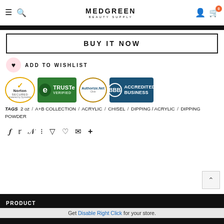MEDGREEN BEAUTY SUPPLY
BUY IT NOW
ADD TO WISHLIST
[Figure (logo): Trust badges row: Norton Secured powered by Symantec, TRUSTe Verified, Authorize.Net, BBB Accredited Business]
TAGS  2 oz  /  A+B COLLECTION  /  ACRYLIC  /  CHISEL  /  DIPPING / ACRYLIC  /  DIPPING POWDER
Social sharing icons: facebook, twitter, pinterest, grid, bookmark, heart, mail, plus
PRODUCT
Get Disable Right Click for your store.